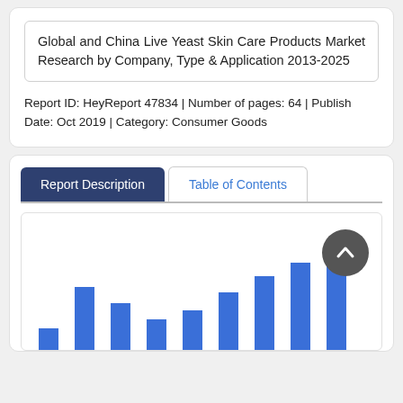Global and China Live Yeast Skin Care Products Market Research by Company, Type & Application 2013-2025
Report ID: HeyReport 47834 | Number of pages: 64 | Publish Date: Oct 2019 | Category: Consumer Goods
[Figure (bar-chart): Bar chart showing market data over years 2013-2025, bars increasing in height suggesting market growth trend. Partial view — lower portion of chart visible.]